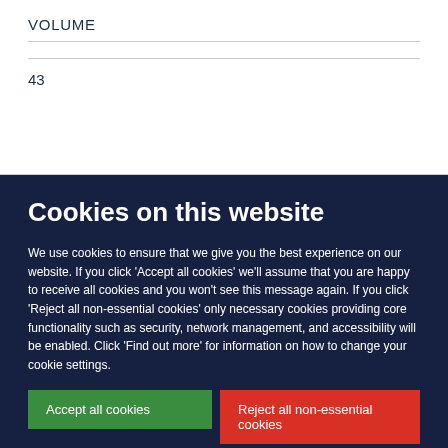VOLUME
43
Cookies on this website
We use cookies to ensure that we give you the best experience on our website. If you click 'Accept all cookies' we'll assume that you are happy to receive all cookies and you won't see this message again. If you click 'Reject all non-essential cookies' only necessary cookies providing core functionality such as security, network management, and accessibility will be enabled. Click 'Find out more' for information on how to change your cookie settings.
Accept all cookies
Reject all non-essential cookies
Find out more